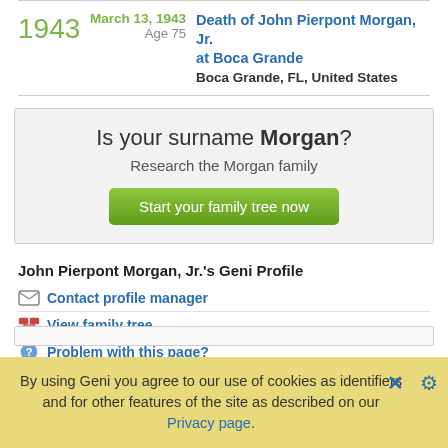1943 — March 13, 1943 Age 75 — Death of John Pierpont Morgan, Jr. at Boca Grande — Boca Grande, FL, United States
Is your surname Morgan? Research the Morgan family
Start your family tree now
John Pierpont Morgan, Jr.'s Geni Profile
Contact profile manager
View family tree
Problem with this page?
By using Geni you agree to our use of cookies as identifiers and for other features of the site as described on our Privacy page.